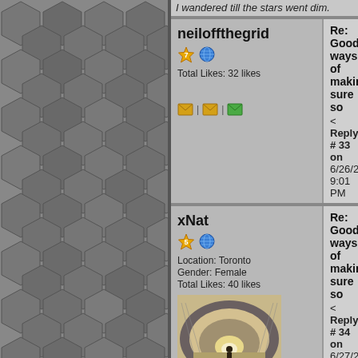I wandered till the stars went dim.
neiloffthegrid
Total Likes: 32 likes
Re: Good ways of making sure so
< Reply # 33 on 6/26/2017 9:01 PM
| Reply with Quote
Was said in one of the first comments, easy to search someone these days.
xNat
Location: Toronto
Gender: Female
Total Likes: 40 likes
Re: Good ways of making sure so
< Reply # 34 on 6/27/2017 5:30 AM
| Reply with Quote
I usually try to do the standard stranger safety things - video call before we return, bring a friend, meet in a pub it brings me peace of mind to go to that I've met to this point have been them so far.

It also helps to go to a location relat lets you sort of gauge how they exp exploring locations.

Usually most of the people I meet f
With Night, Freedom